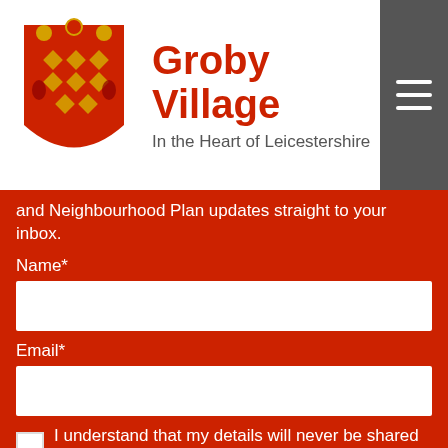[Figure (illustration): Groby Village coat of arms / heraldic shield with red background, gold diamond pattern, red figures on gold shield, with lions and decorative elements]
Groby Village
In the Heart of Leicestershire
and Neighbourhood Plan updates straight to your inbox.
Name*
Email*
I understand that my details will never be shared with
We use cookies on our website to give you the most relevant experience by remembering your preferences and repeat visits. By clicking “Accept”, you consent to the use of ALL the cookies.
Cookie settings
ACCEPT